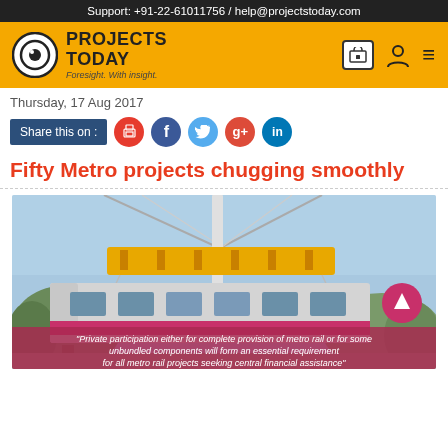Support: +91-22-61011756 / help@projectstoday.com
[Figure (logo): Projects Today logo with eye icon and tagline 'Foresight. With insight.' on orange background]
Thursday, 17 Aug 2017
Share this on :
Fifty Metro projects chugging smoothly
[Figure (photo): Metro rail car being lifted by a crane with yellow spreader beam, trees in background; caption: 'Private participation either for complete provision of metro rail or for some unbundled components will form an essential requirement for all metro rail projects seeking central financial assistance']